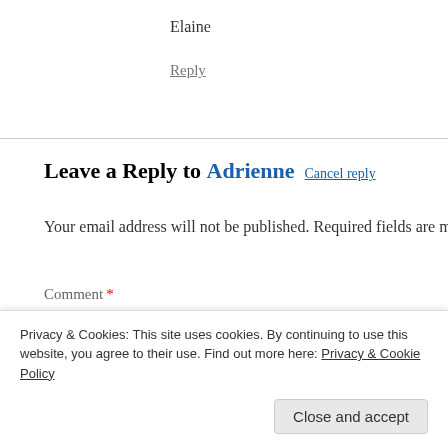Elaine
Reply
Leave a Reply to Adrienne Cancel reply
Your email address will not be published. Required fields are m
Comment *
Privacy & Cookies: This site uses cookies. By continuing to use this website, you agree to their use. Find out more here: Privacy & Cookie Policy
Close and accept